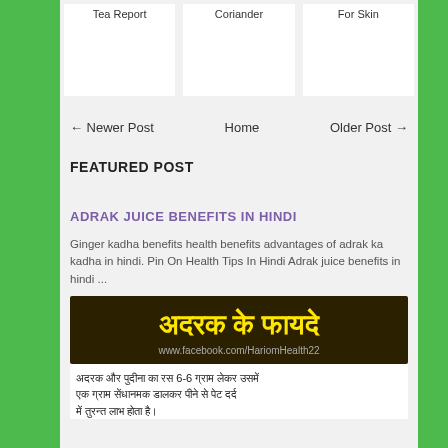[Figure (other): Three white card thumbnails with labels: Tea Report, Coriander, For Skin]
← Newer Post
Home
Older Post →
FEATURED POST
ADRAK JUICE BENEFITS IN HINDI
Ginger kadha benefits health benefits advantages of adrak ka kadha in hindi. Pin On Health Tips In Hindi Adrak juice benefits in hindi ...
[Figure (illustration): Dark background image with large yellow Hindi text 'अदरक के फायदे' and URL www.facebook.com/HariomHealth22]
अदरक और पुदीना का रस 6-6 ग्राम लेकर उसमें एक ग्राम सेंधानमक डालकर पीने से पेट दर्द में तुरन्त लाभ होता है।